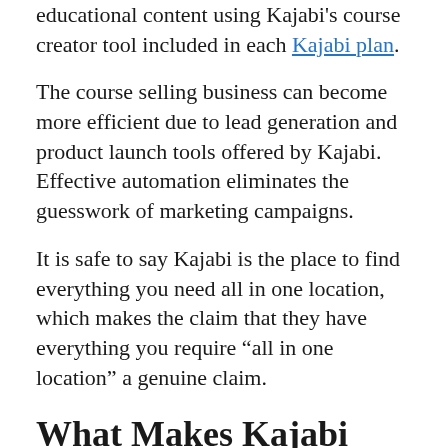educational content using Kajabi's course creator tool included in each Kajabi plan.
The course selling business can become more efficient due to lead generation and product launch tools offered by Kajabi. Effective automation eliminates the guesswork of marketing campaigns.
It is safe to say Kajabi is the place to find everything you need all in one location, which makes the claim that they have everything you require “all in one location” a genuine claim.
What Makes Kajabi Different than Other Providers?